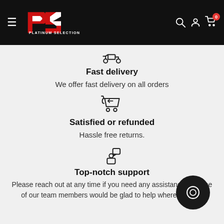[Figure (logo): Platinum Selection logo — red and white PS mark with PLATINUM SELECTION text below, on black header bar with hamburger menu icon on left and search, account, cart icons on right]
[Figure (illustration): Delivery truck / scooter icon]
Fast delivery
We offer fast delivery on all orders
[Figure (illustration): Return shopping cart icon]
Satisfied or refunded
Hassle free returns.
[Figure (illustration): Person with speech bubble / support icon]
Top-notch support
Please reach out at any time if you need any assistance and one of our team members would be glad to help where we can.